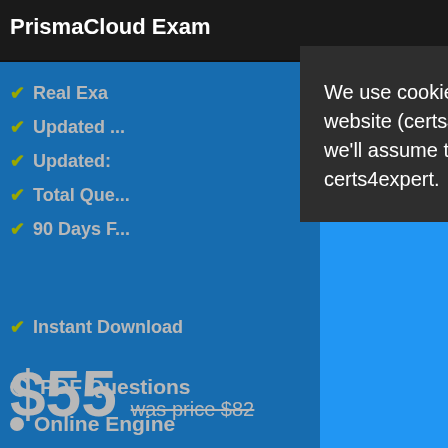PrismaCloud Exam
Real Exam...
Updated...
Updated:
Total Que...
90 Days F...
Instant Download
$55 was price $82
PDF Questions
Online Engine
We use cookies to ensure that we give you the best experience on our website (certs4expert). If you continue without changing your settings, we'll assume that you are happy to receive all cookies on the certs4expert.